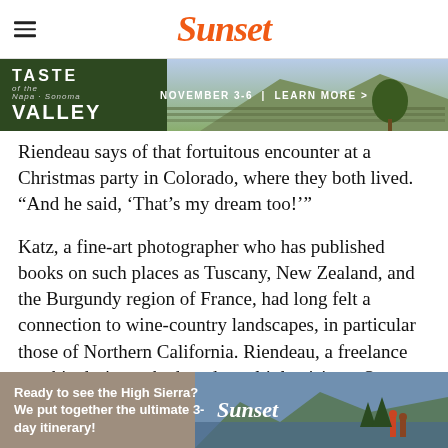Sunset
[Figure (screenshot): Advertisement banner: Taste the Valley, November 3-6 | Learn More > with vineyard background]
Riendeau says of that fortuitous encounter at a Christmas party in Colorado, where they both lived. “And he said, ‘That’s my dream too!’”

Katz, a fine-art photographer who has published books on such places as Tuscany, New Zealand, and the Burgundy region of France, had long felt a connection to wine-country landscapes, in particular those of Northern California. Riendeau, a freelance graphic designer, had made multiple visits to Sonoma and had fantasized about moving there to stomp grapes. Six months into their relationship, they were visiting friends
[Figure (screenshot): Advertisement banner: Ready to see the High Sierra? We put together the ultimate 3-day itinerary! with Sunset logo and mountain lake photo]